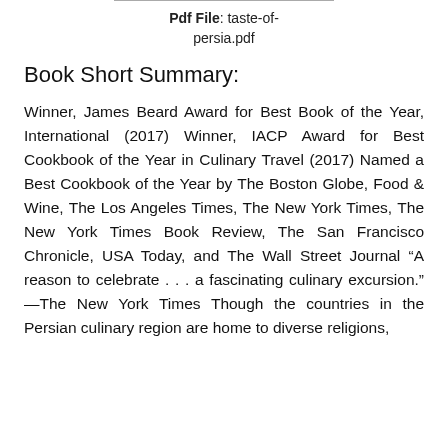Pdf File: taste-of-persia.pdf
Book Short Summary:
Winner, James Beard Award for Best Book of the Year, International (2017) Winner, IACP Award for Best Cookbook of the Year in Culinary Travel (2017) Named a Best Cookbook of the Year by The Boston Globe, Food & Wine, The Los Angeles Times, The New York Times, The New York Times Book Review, The San Francisco Chronicle, USA Today, and The Wall Street Journal “A reason to celebrate . . . a fascinating culinary excursion.” —The New York Times Though the countries in the Persian culinary region are home to diverse religions,